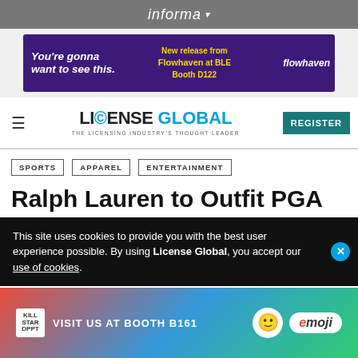informa ▾
[Figure (photo): Flowhaven advertisement banner: 'You're gonna want to see this. New release from Flowhaven at BLE Booth D122 — flowhaven']
≡   LICENSE GLOBAL — THE LICENSING INDUSTRY'S THOUGHT LEADER   REGISTER
SPORTS
APPAREL
ENTERTAINMENT
Ralph Lauren to Outfit PGA
This site uses cookies to provide you with the best user experience possible. By using License Global, you accept our use of cookies.
[Figure (photo): Emoji brand advertisement: 'VISIT US AT BOOTH B161' with emoji character graphics and emoji logo]